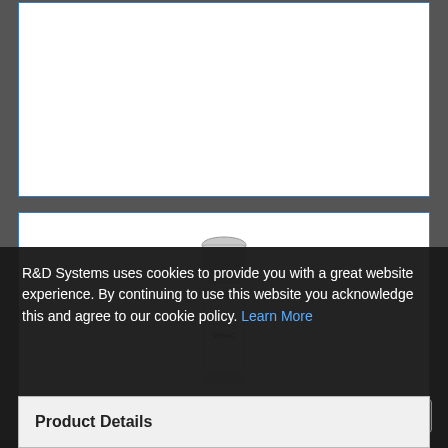[Figure (photo): Empty white image box with blue border at top of page]
[Figure (photo): Laboratory vial or microcentrifuge tube labeled VersaC, shown against white background inside a blue-bordered box]
R&D Systems uses cookies to provide you with a great website experience. By continuing to use this website you acknowledge this and agree to our cookie policy. Learn More
I Agree
⊕ 1 Image
Product Details